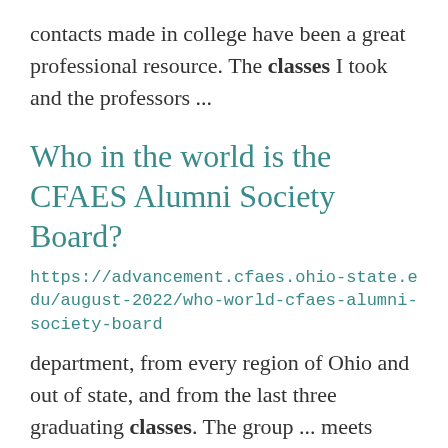contacts made in college have been a great professional resource. The classes I took and the professors ...
Who in the world is the CFAES Alumni Society Board?
https://advancement.cfaes.ohio-state.edu/august-2022/who-world-cfaes-alumni-society-board
department, from every region of Ohio and out of state, and from the last three graduating classes. The group ... meets quarterly and sponsors events throughout the year. Get to know a few of our board members each ... most in your first year on the board? As I am looking forward to the